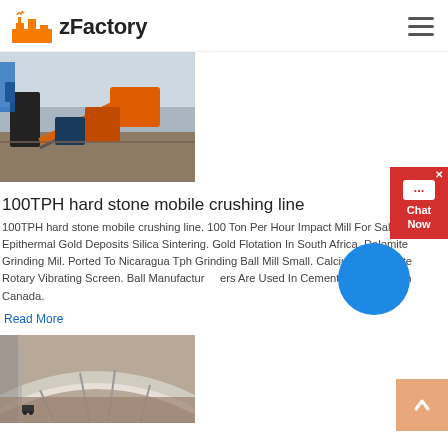zFactory
[Figure (photo): Industrial stone crushing facility with orange machinery, conveyor belts, and excavation site under open sky]
100TPH hard stone mobile crushing line
100TPH hard stone mobile crushing line. 100 Ton Per Hour Impact Mill For Sale. Epithermal Gold Deposits Silica Sintering. Gold Flotation In South Africa. Dolomite Grinding Mil. Ported To Nicaragua Tph Grinding Ball Mill Small. Calcium Carbonate Rotary Vibrating Screen. Ball Manufacturers Are Used In Cement Plant Made In Canada.
Read More
[Figure (photo): Curved architectural structure with metallic roof/roof detail, overhead view]